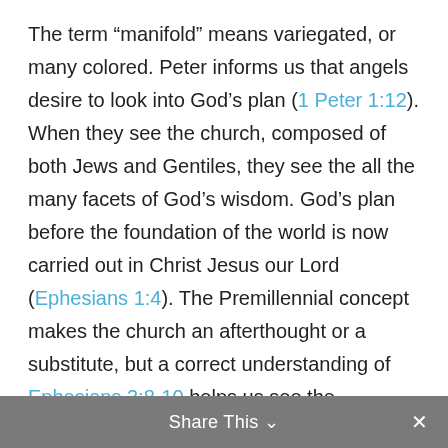The term “manifold” means variegated, or many colored. Peter informs us that angels desire to look into God’s plan (1 Peter 1:12). When they see the church, composed of both Jews and Gentiles, they see the all the many facets of God’s wisdom. God’s plan before the foundation of the world is now carried out in Christ Jesus our Lord (Ephesians 1:4). The Premillennial concept makes the church an afterthought or a substitute, but a correct understanding of Ephesians 3:8-10 helps us see the importance of the church, not man’s wisdom
Share This ⌄  ×